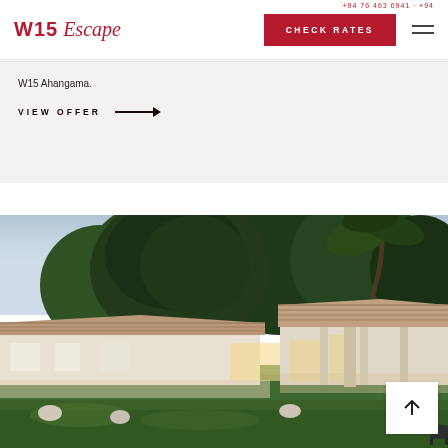+94 76 463 6941 · +94...
W15 Escape
CHECK RATES
W15 Ahangama.
VIEW OFFER →
[Figure (photo): Exterior view of W15 Ahangama villa at dusk, showing tropical garden with large trees, illuminated low-rise buildings with terracotta roof tiles, manicured lawn, and lush greenery in background under a dusky sky.]